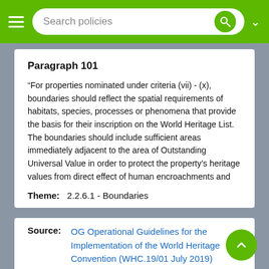Search policies
Paragraph 101
“For properties nominated under criteria (vii) - (x), boundaries should reflect the spatial requirements of habitats, species, processes or phenomena that provide the basis for their inscription on the World Heritage List. The boundaries should include sufficient areas immediately adjacent to the area of Outstanding Universal Value in order to protect the property’s heritage values from direct effect of human encroachments and impacts of resource use outside of the nominated area.”
Theme: 2.2.6.1 - Boundaries
Source: OG Operational Guidelines for the Implementation of the World Heritage Convention (WHC.19/01 July 2019)